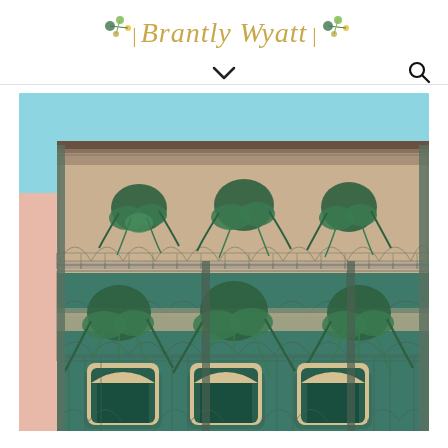Brantly Wyatt
[Figure (photo): Navigation bar with chevron dropdown icon and search icon on white background]
[Figure (photo): Photograph of a French Quarter building in New Orleans with ornate wrought-iron balconies on two levels, hanging fern plants, arched windows with beige trim, and a green facade under a blue sky]